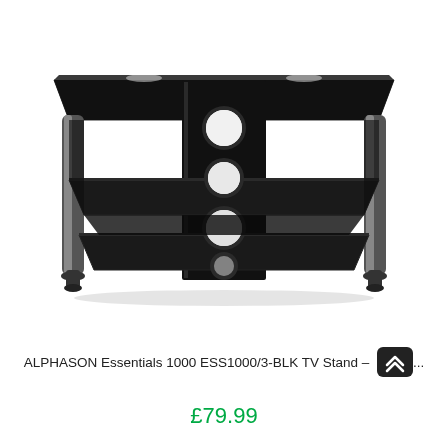[Figure (photo): Black glass TV stand with three tiers and chrome/black legs, center vertical panel with circular cable management holes, viewed from a slight angle on white background]
ALPHASON Essentials 1000 ESS1000/3-BLK TV Stand – B...
£79.99